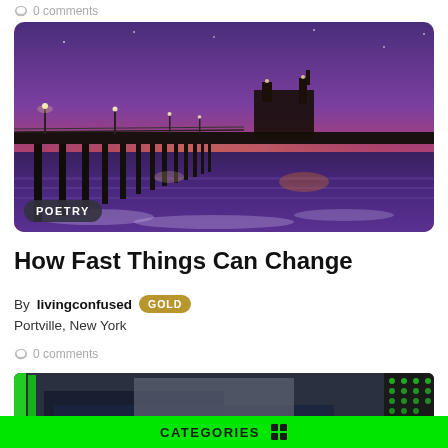0 comments
[Figure (photo): Sunset photo of a pier (Huntington Beach pier) over the ocean with purple and orange sky, silhouetted lamp posts and a tower structure at the end of the pier. 'POETRY' badge overlaid in bottom left.]
How Fast Things Can Change
By livingconfused GOLD
Portville, New York
0 comments
[Figure (photo): Partial view of a second article image with dark navy and green graphic design elements, partially cut off at bottom of page.]
CATEGORIES